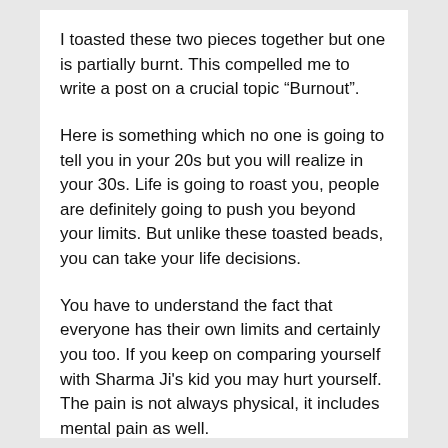I toasted these two pieces together but one is partially burnt. This compelled me to write a post on a crucial topic “Burnout”.
Here is something which no one is going to tell you in your 20s but you will realize in your 30s. Life is going to roast you, people are definitely going to push you beyond your limits. But unlike these toasted beads, you can take your life decisions.
You have to understand the fact that everyone has their own limits and certainly you too. If you keep on comparing yourself with Sharma Ji's kid you may hurt yourself. The pain is not always physical, it includes mental pain as well.
Subconsciously you may start feeding your mind that you are not good enough or you may start